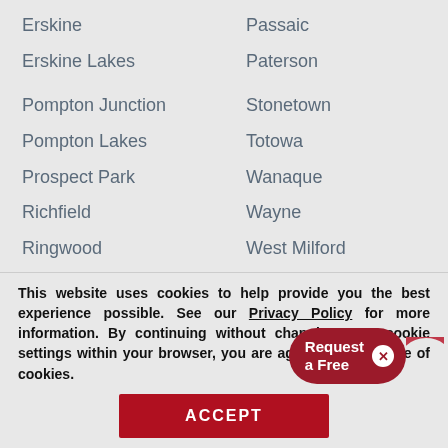Erskine
Passaic
Erskine Lakes
Paterson
Pompton Junction
Stonetown
Pompton Lakes
Totowa
Prospect Park
Wanaque
Richfield
Wayne
Ringwood
West Milford
Riverside
Woodland Park
Singac
Skylands
[Figure (other): Request a Free [consultation] widget button with close X icon, partially visible, dark red rounded rectangle with arrow]
This website uses cookies to help provide you the best experience possible. See our Privacy Policy for more information. By continuing without changing your cookie settings within your browser, you are agreeing to our use of cookies.
ACCEPT